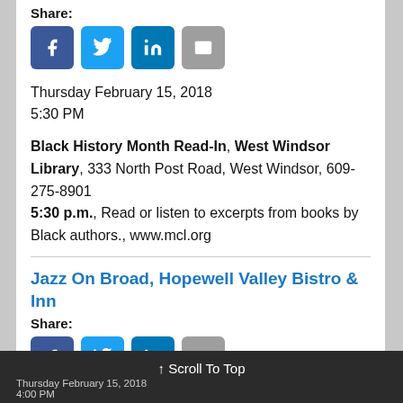Library
Share:
[Figure (other): Social share buttons: Facebook, Twitter, LinkedIn, Email]
Thursday February 15, 2018
5:30 PM
Black History Month Read-In, West Windsor Library, 333 North Post Road, West Windsor, 609-275-8901
5:30 p.m., Read or listen to excerpts from books by Black authors., www.mcl.org
Jazz On Broad, Hopewell Valley Bistro & Inn
Share:
[Figure (other): Social share buttons: Facebook, Twitter, LinkedIn, Email]
↑ Scroll To Top
Thursday February 15, 2018
4:00 PM